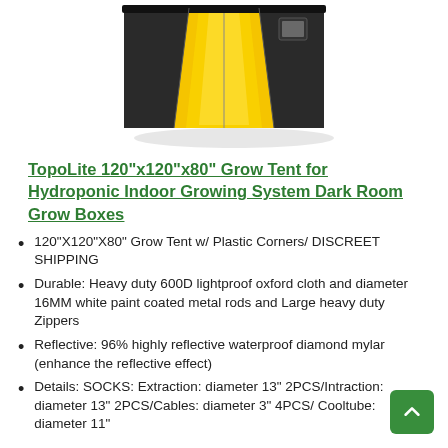[Figure (photo): Photo of a yellow and black grow tent (TopoLite) partially opened showing reflective gold interior, viewed from the front at an angle on a white background]
TopoLite 120"x120"x80" Grow Tent for Hydroponic Indoor Growing System Dark Room Grow Boxes
120"X120"X80" Grow Tent w/ Plastic Corners/ DISCREET SHIPPING
Durable: Heavy duty 600D lightproof oxford cloth and diameter 16MM white paint coated metal rods and Large heavy duty Zippers
Reflective: 96% highly reflective waterproof diamond mylar (enhance the reflective effect)
Details: SOCKS: Extraction: diameter 13" 2PCS/Intraction: diameter 13" 2PCS/Cables: diameter 3" 4PCS/ Cooltube: diameter 11" 4PCS/Window: 13"(L) 3"(H) 2PCS